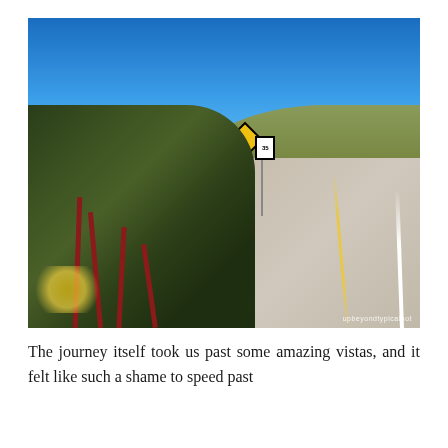[Figure (photo): A photograph of a road curving uphill through a California landscape. In the foreground are large leafy plants with dark green foliage and red stems. The background shows a hillside covered in scrub and yellow wildflowers under a clear blue sky. Yellow warning road signs and a speed limit sign (35) are visible along the roadside.]
The journey itself took us past some amazing vistas, and it felt like such a shame to speed past